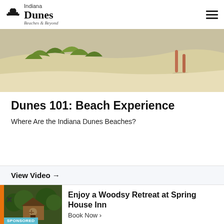[Figure (logo): Indiana Dunes – Beaches & Beyond logo with palm tree/dune icon]
[Figure (photo): Person walking on sandy dune with green grass in background]
Dunes 101: Beach Experience
Where Are the Indiana Dunes Beaches?
View Video →
[Figure (photo): Spring House Inn building surrounded by trees – sponsored advertisement]
Enjoy a Woodsy Retreat at Spring House Inn
Book Now ›